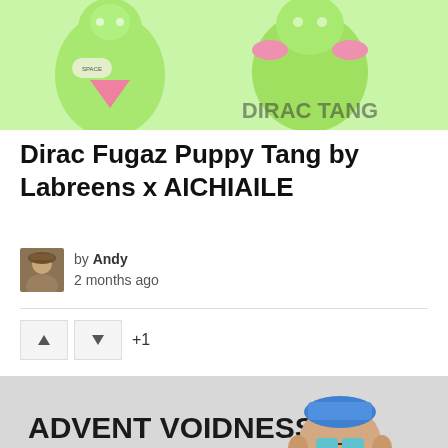[Figure (photo): Green toy figures (Puppy Tang) on a light green background with pink accents]
Dirac Fugaz Puppy Tang by Labreens x AICHIAILE
by Andy
2 months ago
[Figure (photo): Advent Voidness - A David Stevenson Show @ TTC Units promotional banner with a colorful figurine character wearing a patterned jacket]